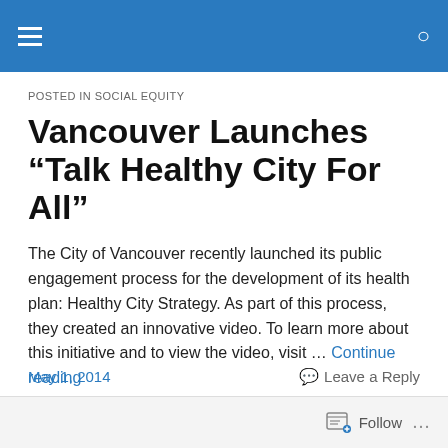POSTED IN SOCIAL EQUITY
Vancouver Launches “Talk Healthy City For All”
The City of Vancouver recently launched its public engagement process for the development of its health plan: Healthy City Strategy. As part of this process, they created an innovative video. To learn more about this initiative and to view the video, visit … Continue reading →
May 1, 2014
Leave a Reply
Follow